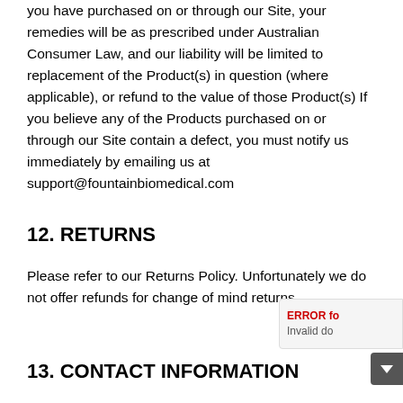you have purchased on or through our Site, your remedies will be as prescribed under Australian Consumer Law, and our liability will be limited to replacement of the Product(s) in question (where applicable), or refund to the value of those Product(s) If you believe any of the Products purchased on or through our Site contain a defect, you must notify us immediately by emailing us at support@fountainbiomedical.com
12. RETURNS
Please refer to our Returns Policy. Unfortunately we do not offer refunds for change of mind returns.
13. CONTACT INFORMATION